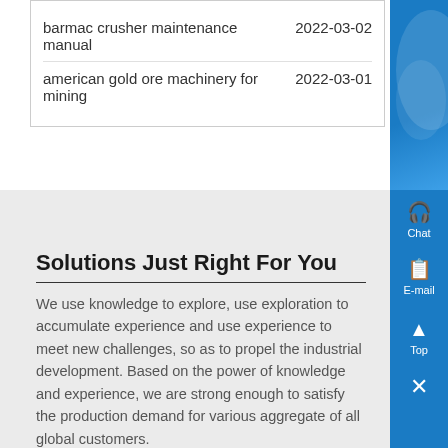barmac crusher maintenance manual  2022-03-02
american gold ore machinery for mining  2022-03-01
Solutions Just Right For You
We use knowledge to explore, use exploration to accumulate experience and use experience to meet new challenges, so as to propel the industrial development. Based on the power of knowledge and experience, we are strong enough to satisfy the production demand for various aggregate of all global customers.
You shall never worry that whether your demand exceeds our capacity, whether we can offer the design you require, or whether we have adequate experience in the field you are involved. In a word, no matter what you need, SBM is here for you.